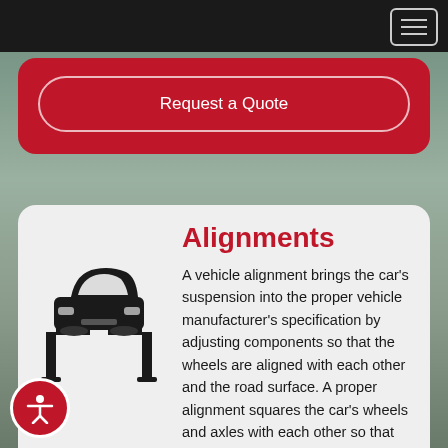[Figure (screenshot): Top navigation bar with hamburger menu button on dark background]
Request a Quote
Alignments
A vehicle alignment brings the car's suspension into the proper vehicle manufacturer's specification by adjusting components so that the wheels are aligned with each other and the road surface. A proper alignment squares the car's wheels and axles with each other so that they are moving in the same direction.